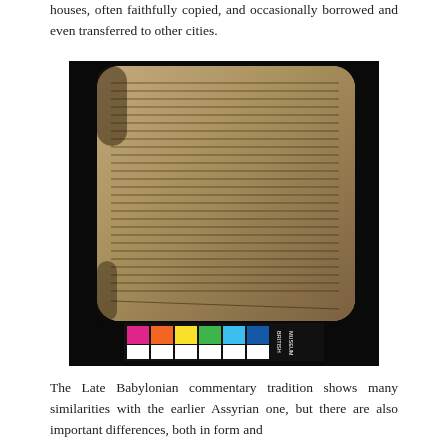houses, often faithfully copied, and occasionally borrowed and even transferred to other cities.
[Figure (photo): Photograph of a clay cuneiform tablet with dense cuneiform script inscription, shown against a black background with a British Museum color/scale reference bar at the bottom.]
The Late Babylonian commentary tradition shows many similarities with the earlier Assyrian one, but there are also important differences, both in form and